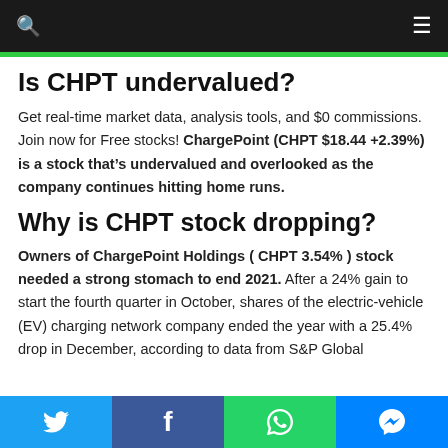Is CHPT undervalued?
Get real-time market data, analysis tools, and $0 commissions. Join now for Free stocks! ChargePoint (CHPT $18.44 +2.39%) is a stock that’s undervalued and overlooked as the company continues hitting home runs.
Why is CHPT stock dropping?
Owners of ChargePoint Holdings ( CHPT 3.54% ) stock needed a strong stomach to end 2021. After a 24% gain to start the fourth quarter in October, shares of the electric-vehicle (EV) charging network company ended the year with a 25.4% drop in December, according to data from S&P Global